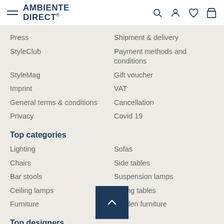AMBIENTE DIRECT
Press
Shipment & delivery
StyleClub
Payment methods and conditions
StyleMag
Gift voucher
Imprint
VAT
General terms & conditions
Cancellation
Privacy
Covid 19
Top categories
Lighting
Sofas
Chairs
Side tables
Bar stools
Suspension lamps
Ceiling lamps
Dining tables
Furniture
Garden furniture
Top designers